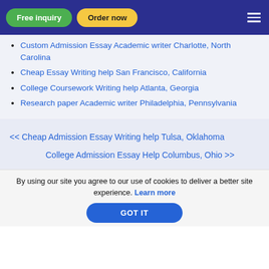Free inquiry | Order now
Custom Admission Essay Academic writer Charlotte, North Carolina
Cheap Essay Writing help San Francisco, California
College Coursework Writing help Atlanta, Georgia
Research paper Academic writer Philadelphia, Pennsylvania
<< Cheap Admission Essay Writing help Tulsa, Oklahoma
College Admission Essay Help Columbus, Ohio >>
By using our site you agree to our use of cookies to deliver a better site experience. Learn more
GOT IT